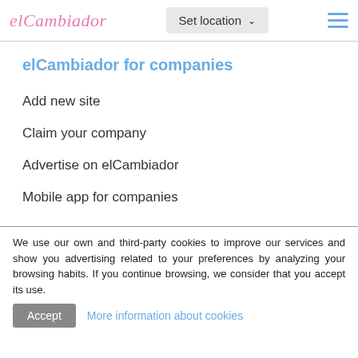elCambiador | Set location
elCambiador for companies
Add new site
Claim your company
Advertise on elCambiador
Mobile app for companies
We use our own and third-party cookies to improve our services and show you advertising related to your preferences by analyzing your browsing habits. If you continue browsing, we consider that you accept its use.
Accept | More information about cookies